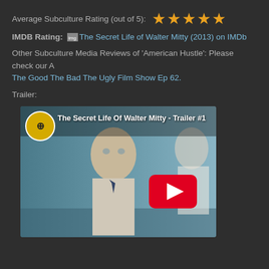Average Subculture Rating (out of 5): ★★★★½
IMDB Rating: The Secret Life of Walter Mitty (2013) on IMDb
Other Subculture Media Reviews of 'American Hustle': Please check our A The Good The Bad The Ugly Film Show Ep 62.
Trailer:
[Figure (screenshot): YouTube video thumbnail for 'The Secret Life Of Walter Mitty - Trailer #1' showing a man in a suit with a YouTube play button overlay and a Hollyscoop channel icon.]